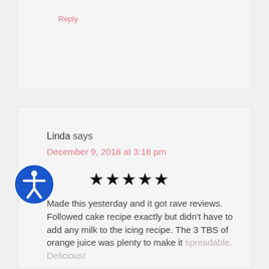Reply
Linda says
December 9, 2018 at 3:18 pm
★★★★★
Made this yesterday and it got rave reviews.
Followed cake recipe exactly but didn't have to add any milk to the icing recipe. The 3 TBS of orange juice was plenty to make it spreadable. Delicious!